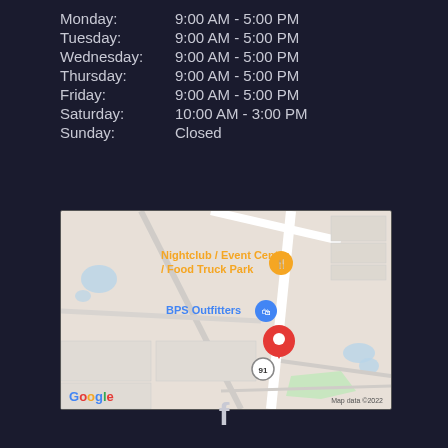Monday: 9:00 AM - 5:00 PM
Tuesday: 9:00 AM - 5:00 PM
Wednesday: 9:00 AM - 5:00 PM
Thursday: 9:00 AM - 5:00 PM
Friday: 9:00 AM - 5:00 PM
Saturday: 10:00 AM - 3:00 PM
Sunday: Closed
[Figure (map): Google Maps screenshot showing BPS Outfitters location with a red map pin, Nightclub / Event Center / Food Truck Park label in orange, blue location marker, Route 91 highway circle marker, and green park area. Map data ©2022.]
[Figure (logo): Facebook 'f' logo icon in white/light gray]